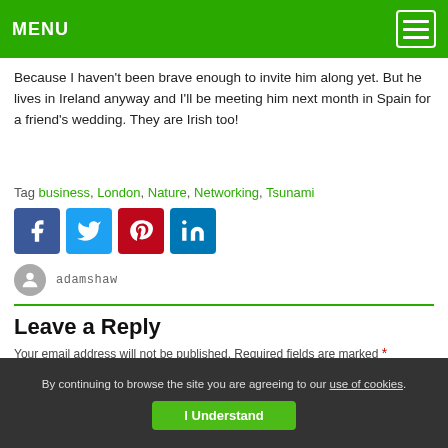MENU
Because I haven't been brave enough to invite him along yet. But he lives in Ireland anyway and I'll be meeting him next month in Spain for a friend's wedding. They are Irish too!
Tag business, London, Nature, Networking, Tsunami
[Figure (infographic): Social sharing icons: Facebook (blue), Twitter (light blue), Pinterest (red), LinkedIn (blue)]
adamshaw
Leave a Reply
Your email address will not be published. Required fields are marked *
COMMENT
By continuing to browse the site you are agreeing to our use of cookies. I Understand